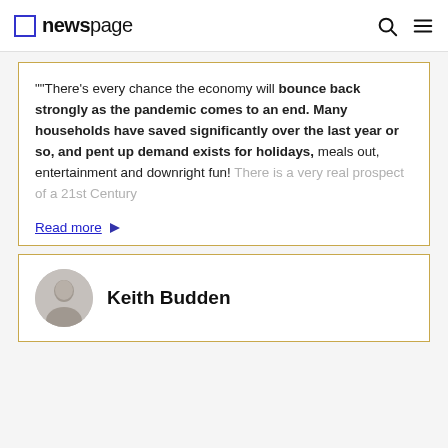newspage
""There's every chance the economy will bounce back strongly as the pandemic comes to an end. Many households have saved significantly over the last year or so, and pent up demand exists for holidays, meals out, entertainment and downright fun! There is a very real prospect of a 21st Century
Read more
Keith Budden